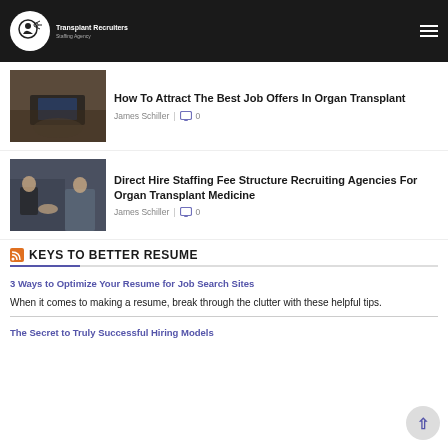Transplant Recruiters Staffing Agency
How To Attract The Best Job Offers In Organ Transplant
James Schiller | 0
Direct Hire Staffing Fee Structure Recruiting Agencies For Organ Transplant Medicine
James Schiller | 0
KEYS TO BETTER RESUME
3 Ways to Optimize Your Resume for Job Search Sites
When it comes to making a resume, break through the clutter with these helpful tips.
The Secret to Truly Successful Hiring Models